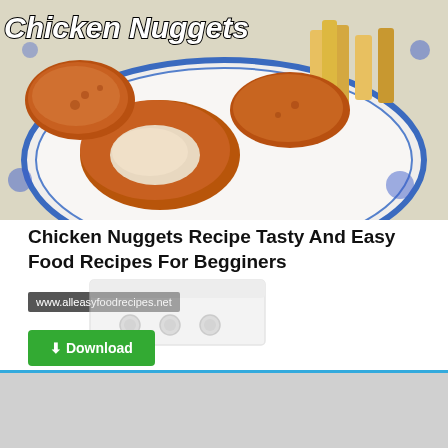[Figure (photo): Close-up photo of crispy chicken nuggets on a blue and white floral plate, with french fries visible in the background. One nugget is broken open showing the interior.]
Chicken Nuggets Recipe Tasty And Easy Food Recipes For Begginers
www.alleasyfoodrecipes.net
[Figure (photo): Image of a white kitchen appliance (appears to be a stove or oven) partially visible]
⬇ Download
Fast Download